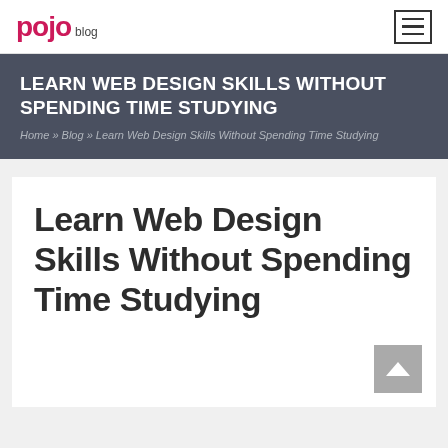pojo blog
LEARN WEB DESIGN SKILLS WITHOUT SPENDING TIME STUDYING
Home » Blog » Learn Web Design Skills Without Spending Time Studying
Learn Web Design Skills Without Spending Time Studying